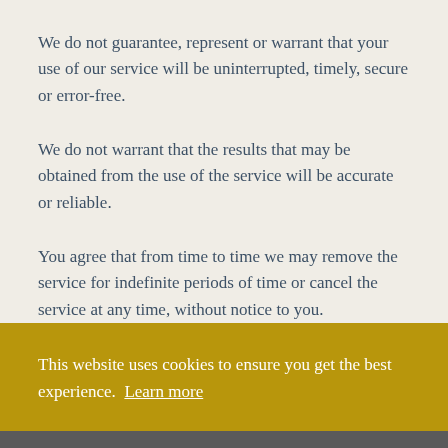We do not guarantee, represent or warrant that your use of our service will be uninterrupted, timely, secure or error-free.
We do not warrant that the results that may be obtained from the use of the service will be accurate or reliable.
You agree that from time to time we may remove the service for indefinite periods of time or cancel the service at any time, without notice to you.
This website uses cookies to ensure you get the best experience. Learn more
Got it!
kind, either express or implied, including all implied